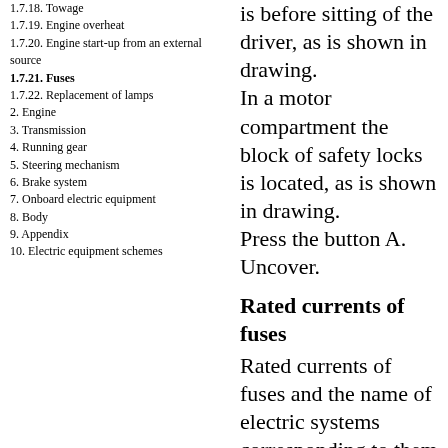1.7.18. Towage
1.7.19. Engine overheat
1.7.20. Engine start-up from an external source
1.7.21. Fuses
1.7.22. Replacement of lamps
2. Engine
3. Transmission
4. Running gear
5. Steering mechanism
6. Brake system
7. Onboard electric equipment
8. Body
9. Appendix
10. Electric equipment schemes
is before sitting of the driver, as is shown in drawing.
In a motor compartment the block of safety locks is located, as is shown in drawing.
Press the button A. Uncover.
Rated currents of fuses
Rated currents of fuses and the name of electric systems corresponding to them are put on compartment inside for coins – for the safety locks located in a zone of feet of the driver, and on a cover of the block of safety locks – for the block of safety locks in a motor compartment.
Car salon